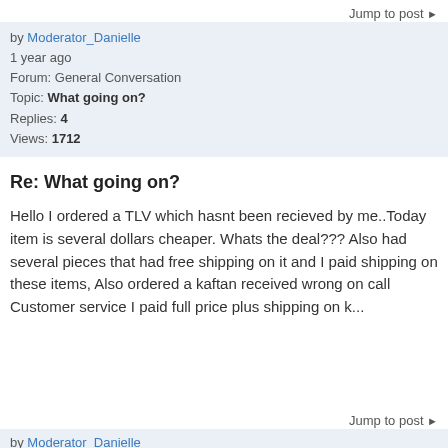Jump to post ▶
by Moderator_Danielle
1 year ago
Forum: General Conversation
Topic: What going on?
Replies: 4
Views: 1712
Re: What going on?
Hello I ordered a TLV which hasnt been recieved by me..Today item is several dollars cheaper. Whats the deal??? Also had several pieces that had free shipping on it and I paid shipping on these items, Also ordered a kaftan received wrong on call Customer service I paid full price plus shipping on k...
Jump to post ▶
by Moderator_Danielle
1 year ago
Forum: General Conversation
Topic: Review ???
Replies: 17
Views: 4441
Re: Review ???
We of course will review the situation but wanted to provide clarity. If an item states it's XYZ then that is what it is. Have